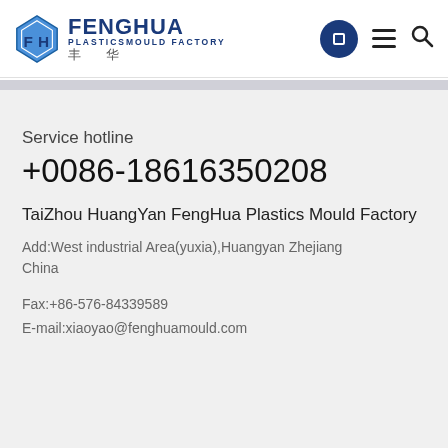[Figure (logo): FengHua Plastics Mould Factory logo: diamond shape with FH initials, text FENGHUA PLASTICSMOULD FACTORY, and Chinese characters 丰 华]
Service hotline
+0086-18616350208
TaiZhou HuangYan FengHua Plastics Mould Factory
Add:West industrial Area(yuxia),Huangyan Zhejiang China
Fax:+86-576-84339589
E-mail:xiaoyao@fenghuamould.com